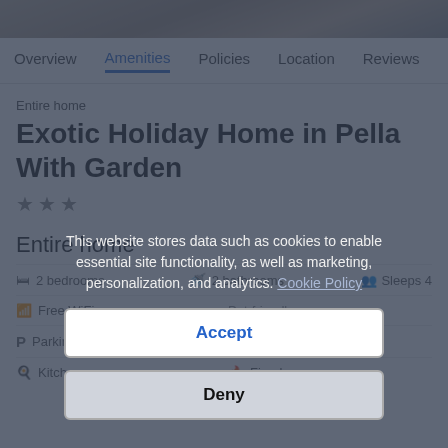[Figure (photo): Top portion of a property photo showing a stone or rustic exterior]
Overview  Amenities  Policies  Location  Reviews
Entire home
Exotic Holiday Home in Pella With Garden
★★★
Entire home
2 bedrooms   2 bathrooms   Sleeps 4
Free WiFi   Pet-friendly
Parking included   Outdoor space
Kitchen   Fireplace
This website stores data such as cookies to enable essential site functionality, as well as marketing, personalization, and analytics. Cookie Policy
Accept
Deny